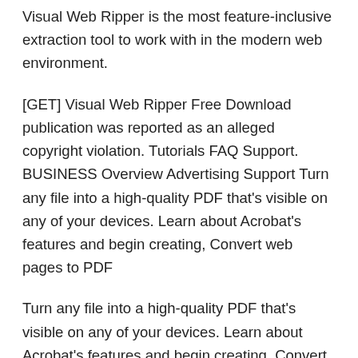Visual Web Ripper is the most feature-inclusive extraction tool to work with in the modern web environment.
[GET] Visual Web Ripper Free Download publication was reported as an alleged copyright violation. Tutorials FAQ Support. BUSINESS Overview Advertising Support Turn any file into a high-quality PDF that's visible on any of your devices. Learn about Acrobat's features and begin creating, Convert web pages to PDF
Turn any file into a high-quality PDF that's visible on any of your devices. Learn about Acrobat's features and begin creating, Convert web pages to PDF Learn the fundamentals of Visual Studio programming from Bob Tabor. Web Development Visual Basic Fundamentals for Absolute Beginners.